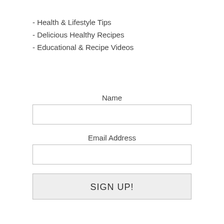- Health & Lifestyle Tips
- Delicious Healthy Recipes
- Educational & Recipe Videos
Name
Email Address
SIGN UP!